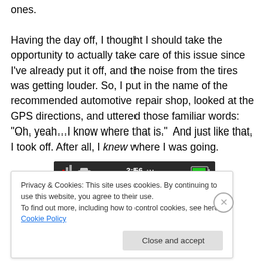ones. Having the day off, I thought I should take the opportunity to actually take care of this issue since I've already put it off, and the noise from the tires was getting louder. So, I put in the name of the recommended automotive repair shop, looked at the GPS directions, and uttered those familiar words: "Oh, yeah…I know where that is."  And just like that, I took off. After all, I knew where I was going.
[Figure (screenshot): GPS navigation device screen showing status bar with signal bars, car icon, time 3:56, and battery indicator, with navigation app icons below]
Privacy & Cookies: This site uses cookies. By continuing to use this website, you agree to their use.
To find out more, including how to control cookies, see here: Cookie Policy
Close and accept